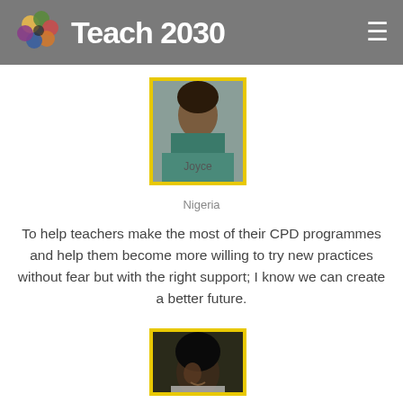Teach 2030
[Figure (photo): Profile photo of Joyce from Nigeria with yellow border frame]
Joyce
Nigeria
To help teachers make the most of their CPD programmes and help them become more willing to try new practices without fear but with the right support; I know we can create a better future.
[Figure (photo): Profile photo of a person with yellow border frame, partially visible]